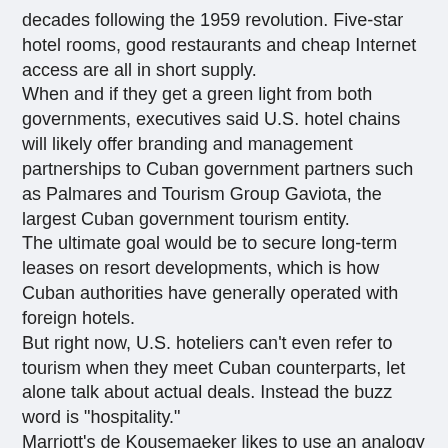decades following the 1959 revolution. Five-star hotel rooms, good restaurants and cheap Internet access are all in short supply.
When and if they get a green light from both governments, executives said U.S. hotel chains will likely offer branding and management partnerships to Cuban government partners such as Palmares and Tourism Group Gaviota, the largest Cuban government tourism entity.
The ultimate goal would be to secure long-term leases on resort developments, which is how Cuban authorities have generally operated with foreign hotels.
But right now, U.S. hoteliers can't even refer to tourism when they meet Cuban counterparts, let alone talk about actual deals. Instead the buzz word is "hospitality."
Marriott's de Kousemaeker likes to use an analogy from baseball, a sport loved both in Cuba and in the United States, to describe the situation.
“We’re learning, and taking batting practice, but we’re sitting on the bench.”
(Additional reporting by Jaime Hamre in Havana. Writing by Carmel Crimmins; Editing by Stuart Grudgings)